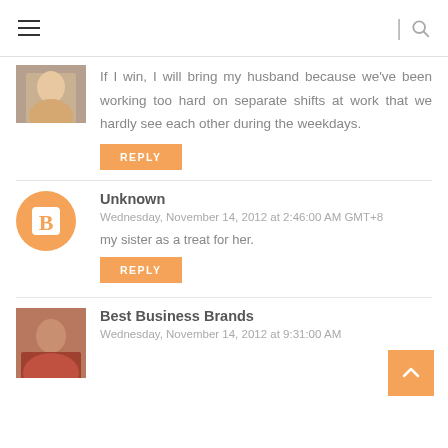≡  | 🔍
If I win, I will bring my husband because we've been working too hard on separate shifts at work that we hardly see each other during the weekdays.
REPLY
Unknown
Wednesday, November 14, 2012 at 2:46:00 AM GMT+8
my sister as a treat for her.
REPLY
Best Business Brands
Wednesday, November 14, 2012 at 9:31:00 AM